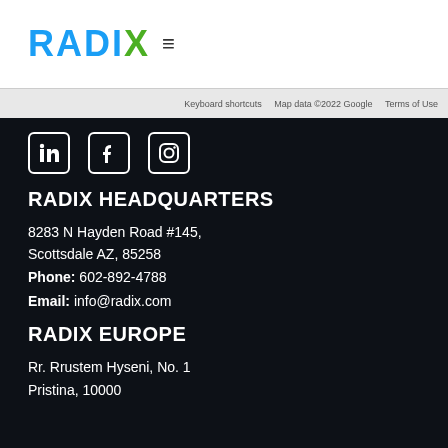[Figure (logo): RADIX logo in blue and green with hamburger menu icon]
Keyboard shortcuts   Map data ©2022 Google   Terms of Use
[Figure (illustration): LinkedIn, Facebook, and Instagram social media icons in white on dark background]
RADIX HEADQUARTERS
8283 N Hayden Road #145,
Scottsdale AZ, 85258
Phone: 602-892-4788
Email: info@radix.com
RADIX EUROPE
Rr. Rrustem Hyseni, No. 1
Pristina, 10000